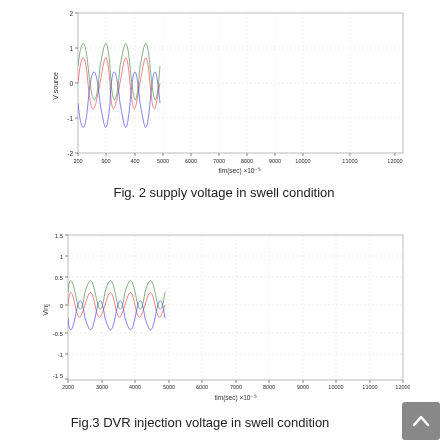[Figure (continuous-plot): Supply voltage waveform in swell condition. Three-phase sinusoidal waves with increased amplitude between approximately t=5000 and t=10000 (×10^-5 s). Y-axis labeled 'V source' ranging from -2 to 2. X-axis labeled 'tim(sec) ×10^-5' ranging from 200 to 12000.]
Fig. 2 supply voltage in swell condition
[Figure (continuous-plot): DVR injection voltage waveform in swell condition. Three-phase sinusoidal waves with increased amplitude between approximately t=5000 and t=10000 (×10^-5 s). Y-axis labeled 'Vinj' ranging from -1.5 to 1.5. X-axis labeled 'tim(sec) ×10^-5' ranging from 2000 to 12000.]
Fig.3 DVR injection voltage in swell condition